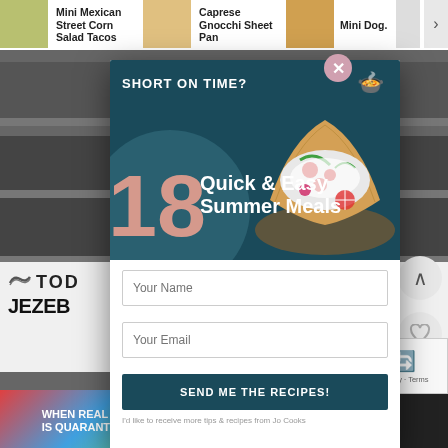[Figure (screenshot): Website screenshot with recipe carousel showing Mini Mexican Street Corn Salad Tacos, Caprese Gnocchi Sheet Pan, Mini Dogs]
[Figure (infographic): Popup modal: SHORT ON TIME? 18 Quick & Easy Summer Meals with name and email fields and send button]
Your Name
Your Email
SEND ME THE RECIPES!
I'd like to receive more tips & recipes from Jo Cooks
[Figure (screenshot): Background website content with TODAY logo, JEZEBEL logo, Washington Post text, 1,051 count, GOOD HOUSEKEEPING text, reCAPTCHA widget, BitLife ad banner]